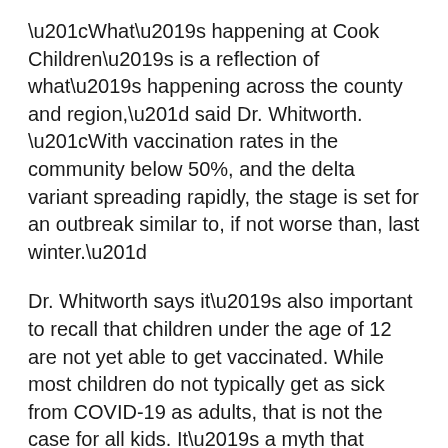“What’s happening at Cook Children’s is a reflection of what’s happening across the county and region,” said Dr. Whitworth. “With vaccination rates in the community below 50%, and the delta variant spreading rapidly, the stage is set for an outbreak similar to, if not worse than, last winter.”
Dr. Whitworth says it’s also important to recall that children under the age of 12 are not yet able to get vaccinated. While most children do not typically get as sick from COVID-19 as adults, that is not the case for all kids. It’s a myth that children don’t get severely ill from COVID-19. In fact, Cook Children’s treated hundreds of hospitalized patients with the virus over the past 17 months.
Kids are also at risk of developing multisystem inflammatory syndrome in children (MIS-C), which usually develops about four weeks after a COVID-19 infection (even if the child never had any symptoms).